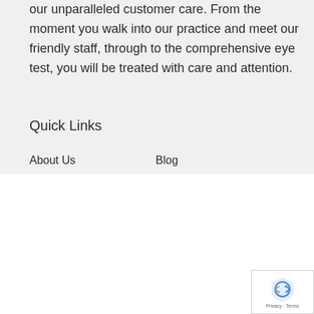our unparalleled customer care. From the moment you walk into our practice and meet our friendly staff, through to the comprehensive eye test, you will be treated with care and attention.
Quick Links
About Us    Blog
We use cookies on our website to give you the most relevant experience by remembering your preferences and repeat visits. By clicking “Accept All”, you consent to the use of ALL the cookies. However, you may visit “Cookie Settings” to provide a controlled consent.
Cookie Settings | Accept All
[Figure (logo): reCAPTCHA logo with Privacy and Terms text]